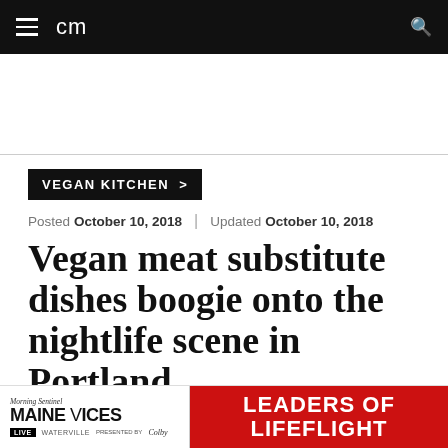cm
VEGAN KITCHEN >
Posted October 10, 2018 | Updated October 10, 2018
Vegan meat substitute dishes boogie onto the nightlife scene in Portland
The options just keep growing.
[Figure (advertisement): Morning Sentinel Maine Voices Live Waterville presented by Colby | Leaders of Lifeflight advertisement banner]